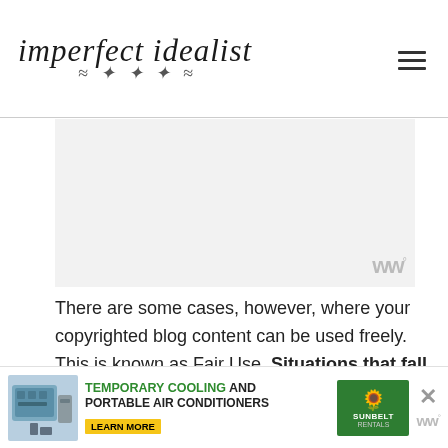imperfect idealist
[Figure (other): Gray placeholder advertisement area with small 'w°' watermark logo in bottom right corner]
There are some cases, however, where your copyrighted blog content can be used freely. This is known as Fair Use. Situations that fall under Fair Use include reviews, commentary, news, and education. There are some guidelines you have to follow for Fair Use to apply though:
[Figure (other): Advertisement banner at bottom: HVAC equipment image, 'TEMPORARY COOLING AND PORTABLE AIR CONDITIONERS' text with LEARN MORE button, Sunbelt Rentals green logo, close X button, and w° watermark]